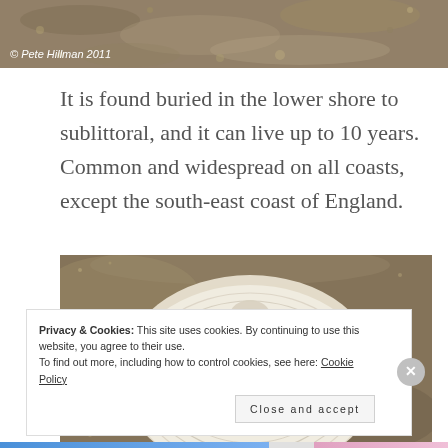[Figure (photo): Close-up photograph of sand/gravel texture with a copyright watermark reading '© Pete Hillman 2011' in white italic script at the bottom left]
It is found buried in the lower shore to sublittoral, and it can live up to 10 years. Common and widespread on all coasts, except the south-east coast of England.
[Figure (photo): Close-up photograph of a white/cream ribbed clam shell (likely a carpet shell or similar bivalve) partially buried in wet sand, showing concentric ridged growth lines with light brown markings]
Privacy & Cookies: This site uses cookies. By continuing to use this website, you agree to their use.
To find out more, including how to control cookies, see here: Cookie Policy
Close and accept